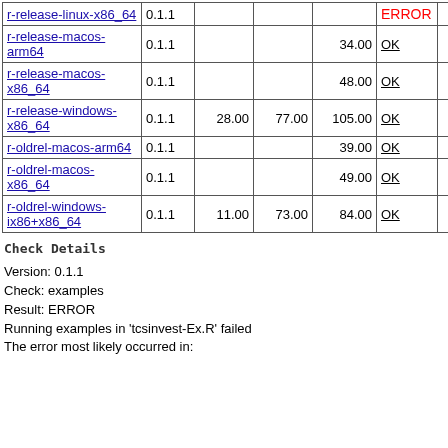|  |  |  |  |  |  |  |
| --- | --- | --- | --- | --- | --- | --- |
| r-release-linux-x86_64 | 0.1.1 |  |  |  | ERROR |  |
| r-release-macos-arm64 | 0.1.1 |  |  | 34.00 | OK |  |
| r-release-macos-x86_64 | 0.1.1 |  |  | 48.00 | OK |  |
| r-release-windows-x86_64 | 0.1.1 | 28.00 | 77.00 | 105.00 | OK |  |
| r-oldrel-macos-arm64 | 0.1.1 |  |  | 39.00 | OK |  |
| r-oldrel-macos-x86_64 | 0.1.1 |  |  | 49.00 | OK |  |
| r-oldrel-windows-ix86+x86_64 | 0.1.1 | 11.00 | 73.00 | 84.00 | OK |  |
Check Details
Version: 0.1.1
Check: examples
Result: ERROR
    Running examples in 'tcsinvest-Ex.R' failed
    The error most likely occurred in: